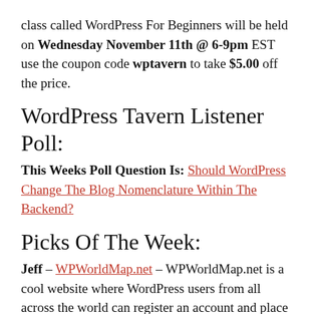class called WordPress For Beginners will be held on Wednesday November 11th @ 6-9pm EST use the coupon code wptavern to take $5.00 off the price.
WordPress Tavern Listener Poll:
This Weeks Poll Question Is: Should WordPress Change The Blog Nomenclature Within The Backend?
Picks Of The Week:
Jeff – WPWorldMap.net – WPWorldMap.net is a cool website where WordPress users from all across the world can register an account and place a marker above their general location since the site is made up